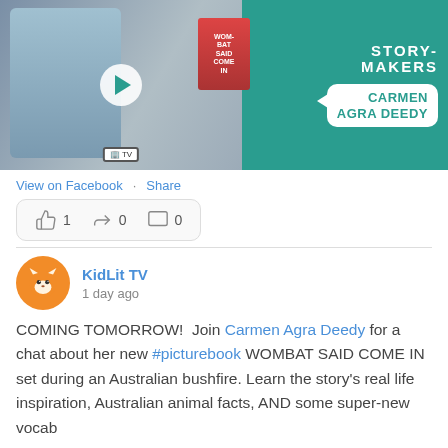[Figure (screenshot): Video thumbnail for KidLit TV Storymakers featuring Carmen Agra Deedy, with teal background and speech bubble overlay]
View on Facebook · Share
[Figure (infographic): Reaction/engagement bar showing thumbs up 1, share 0, comment 0]
KidLit TV
1 day ago
COMING TOMORROW!  Join Carmen Agra Deedy for a chat about her new #picturebook WOMBAT SAID COME IN set during an Australian bushfire. Learn the story's real life inspiration, Australian animal facts, AND some super-new vocab